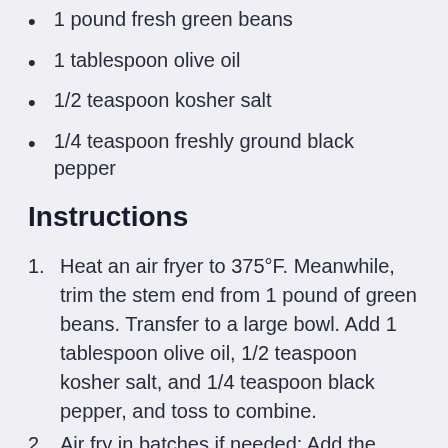1 pound fresh green beans
1 tablespoon olive oil
1/2 teaspoon kosher salt
1/4 teaspoon freshly ground black pepper
Instructions
Heat an air fryer to 375°F. Meanwhile, trim the stem end from 1 pound of green beans. Transfer to a large bowl. Add 1 tablespoon olive oil, 1/2 teaspoon kosher salt, and 1/4 teaspoon black pepper, and toss to combine.
Air fry in batches if needed: Add the green beans to the air fryer basket and arrange them into a single layer. Air fry until the green beans are crisp-tender, 8 minutes. If you prefer your green beans a little more tender, give the basket a toss to